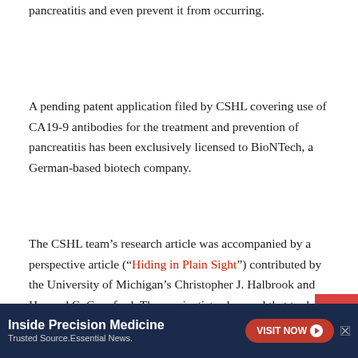pancreatitis and even prevent it from occurring.
A pending patent application filed by CSHL covering use of CA19-9 antibodies for the treatment and prevention of pancreatitis has been exclusively licensed to BioNTech, a German-based biotech company.
The CSHL team's research article was accompanied by a perspective article (“Hiding in Plain Sight”) contributed by the University of Michigan’s Christopher J. Halbrook and Howard C. Crawford. These scientists observed that to date, CA19-9 has been clinically useful as a biomarker of pancreatic cand... ...n for
[Figure (other): Red back-to-top arrow button in the bottom right corner]
[Figure (other): Advertisement banner: Inside Precision Medicine - Trusted Source. Essential News. with VISIT NOW button]